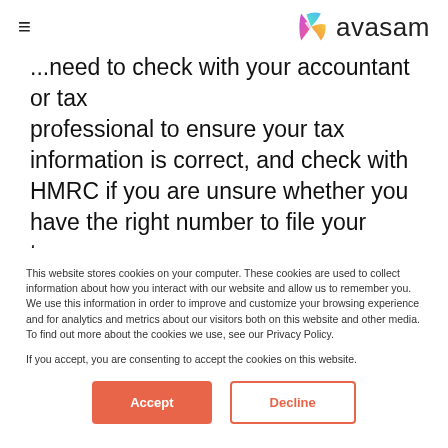≡   avasam
...need to check with your accountant or tax professional to ensure your tax information is correct, and check with HMRC if you are unsure whether you have the right number to file your taxes.
This website stores cookies on your computer. These cookies are used to collect information about how you interact with our website and allow us to remember you. We use this information in order to improve and customize your browsing experience and for analytics and metrics about our visitors both on this website and other media. To find out more about the cookies we use, see our Privacy Policy.

If you accept, you are consenting to accept the cookies on this website.